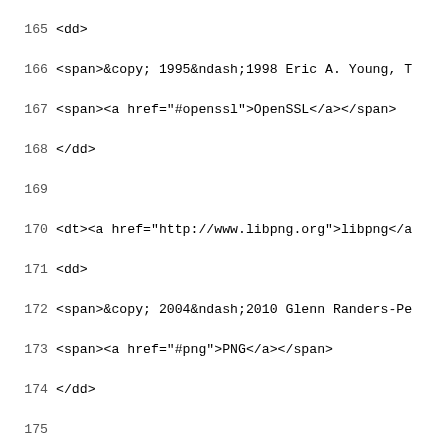Code listing lines 165–194 showing HTML/XML source with dt/dd elements for libpng, libxml2, riscos unixlib, and zlib entries
165  <dd>
166  <span>&copy; 1995&ndash;1998 Eric A. Young, T
167  <span><a href="#openssl">OpenSSL</a></span>
168  </dd>
169  
170  <dt><a href="http://www.libpng.org">libpng</a
171  <dd>
172  <span>&copy; 2004&ndash;2010 Glenn Randers-Pe
173  <span><a href="#png">PNG</a></span>
174  </dd>
175  
176  <dt><a href="http://xmlsoft.org">libxml2</a><
177  <dd>
178  <span>&copy; 1998&ndash;2009 Daniel Veillard<
179  <span><a href="#mit">MIT</a></span>
180  </dd>
181  
182  <dt><a href="http://www.riscos.info/websvn/li
183  <dd>
184  <span>&copy; 1995&ndash;1999 Simon Callan, Ni
185  <span><a href="#unixlib">UnixLib</a></span>
186  </dd>
187  
188  <dt><a href="http://zlib.net/">ZLib</a></dt>
189  <dd>
190  <span>&copy; 1995&ndash;2010 Jean-loup Gailly
191  <span><a href="#zlib">ZLib</a></span>
192  </dd>
193  </dl>
194